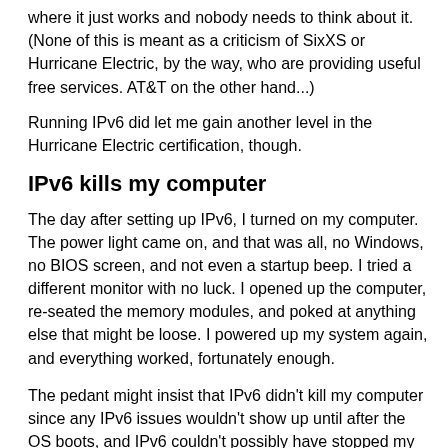where it just works and nobody needs to think about it. (None of this is meant as a criticism of SixXS or Hurricane Electric, by the way, who are providing useful free services. AT&T on the other hand...)
Running IPv6 did let me gain another level in the Hurricane Electric certification, though.
IPv6 kills my computer
The day after setting up IPv6, I turned on my computer. The power light came on, and that was all, no Windows, no BIOS screen, and not even a startup beep. I tried a different monitor with no luck. I opened up the computer, re-seated the memory modules, and poked at anything else that might be loose. I powered up my system again, and everything worked, fortunately enough.
The pedant might insist that IPv6 didn't kill my computer since any IPv6 issues wouldn't show up until after the OS boots, and IPv6 couldn't possibly have stopped my computer from even booting to the BIOS. However, I remain suspicious. Just a coincidence that I set up IPv6 and my